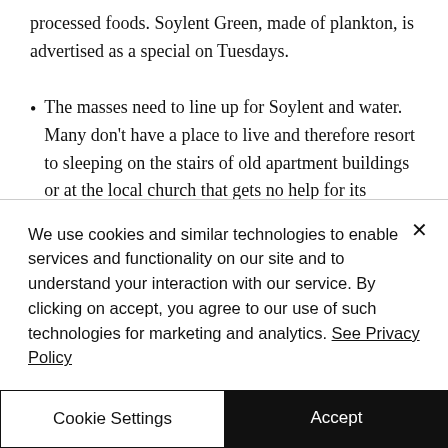processed foods. Soylent Green, made of plankton, is advertised as a special on Tuesdays.
The masses need to line up for Soylent and water. Many don't have a place to live and therefore resort to sleeping on the stairs of old apartment buildings or at the local church that gets no help for its charity work. Also, presumably due to pollution, some
We use cookies and similar technologies to enable services and functionality on our site and to understand your interaction with our service. By clicking on accept, you agree to our use of such technologies for marketing and analytics. See Privacy Policy